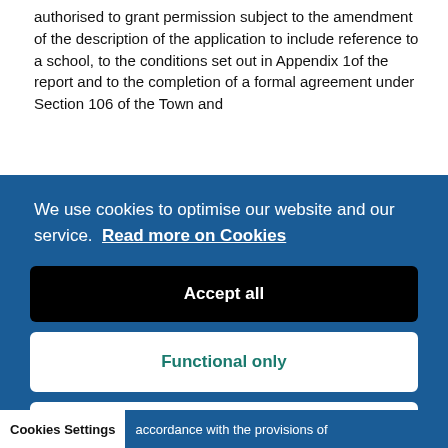authorised to grant permission subject to the amendment of the description of the application to include reference to a school, to the conditions set out in Appendix 1of the report and to the completion of a formal agreement under Section 106 of the Town and
We use cookies to optimise our website and our service.  Read more on Cookies
Accept all
Functional only
Cookies preferences
Cookies Settings    accordance with the provisions of